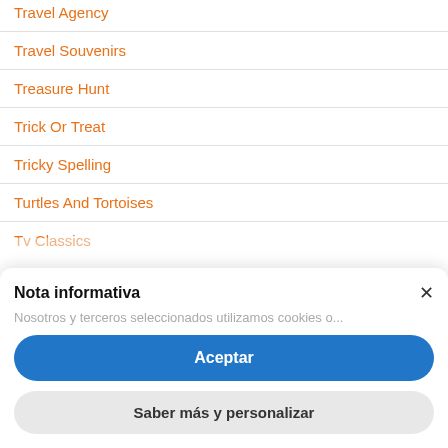Travel Agency
Travel Souvenirs
Treasure Hunt
Trick Or Treat
Tricky Spelling
Turtles And Tortoises
Tv Classics
Nota informativa
Nosotros y terceros seleccionados utilizamos cookies o...
Aceptar
Saber más y personalizar